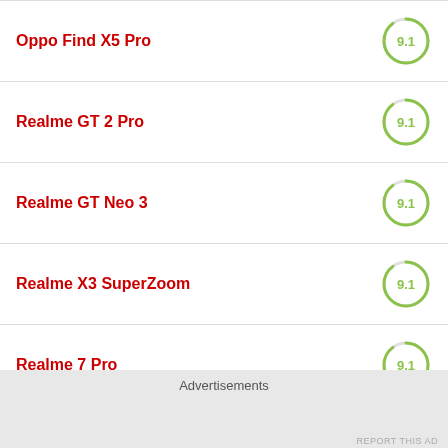Oppo Find X5 Pro — 9.1
Realme GT 2 Pro — 9.1
Realme GT Neo 3 — 9.1
Realme X3 SuperZoom — 9.1
Realme 7 Pro — 9.1
OnePlus 8 — 9.1
Advertisements